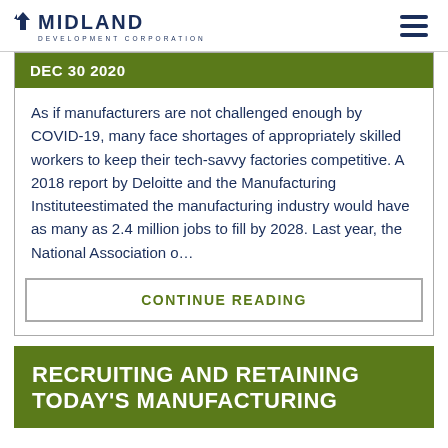Midland Development Corporation
DEC 30 2020
As if manufacturers are not challenged enough by COVID-19, many face shortages of appropriately skilled workers to keep their tech-savvy factories competitive. A 2018 report by Deloitte and the Manufacturing Instituteestimated the manufacturing industry would have as many as 2.4 million jobs to fill by 2028. Last year, the National Association o…
CONTINUE READING
RECRUITING AND RETAINING TODAY'S MANUFACTURING